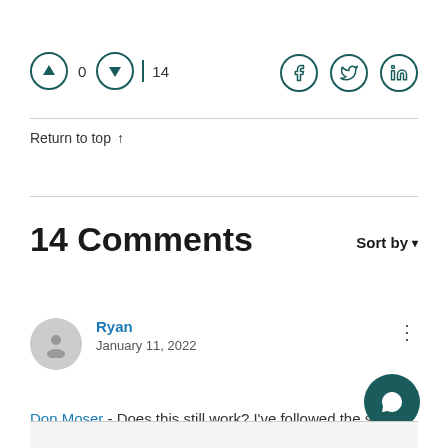↑ 0 ↓ | 14
[Figure (illustration): Social share icons: Facebook, Twitter, LinkedIn]
Return to top ↑
14 Comments
Sort by ▼
Ryan
January 11, 2022
Don Moser - Does this still work? I've followed the ste outlined but